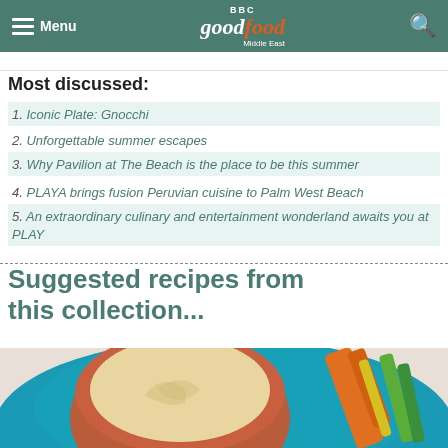Menu | BBC Good Food Middle East | Search
Most discussed:
Iconic Plate: Gnocchi
Unforgettable summer escapes
Why Pavilion at The Beach is the place to be this summer
PLAYA brings fusion Peruvian cuisine to Palm West Beach
An extraordinary culinary and entertainment wonderland awaits you at PLAY
Suggested recipes from this collection...
[Figure (photo): Top-down view of a bowl of hummus or cream dip in a terracotta bowl on a bright blue plate, surrounded by colorful vegetable sticks (carrots, celery, cucumber) on a light background.]